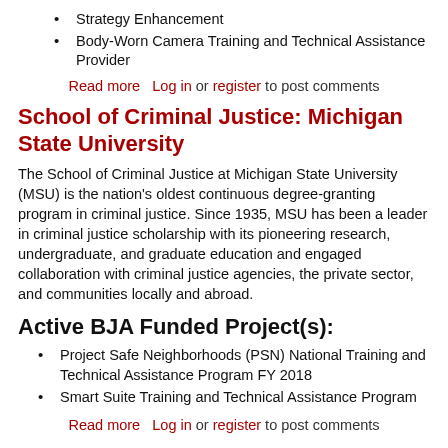Strategy Enhancement
Body-Worn Camera Training and Technical Assistance Provider
Read more   Log in or register to post comments
School of Criminal Justice: Michigan State University
The School of Criminal Justice at Michigan State University (MSU) is the nation's oldest continuous degree-granting program in criminal justice. Since 1935, MSU has been a leader in criminal justice scholarship with its pioneering research, undergraduate, and graduate education and engaged collaboration with criminal justice agencies, the private sector, and communities locally and abroad.
Active BJA Funded Project(s):
Project Safe Neighborhoods (PSN) National Training and Technical Assistance Program FY 2018
Smart Suite Training and Technical Assistance Program
Read more   Log in or register to post comments